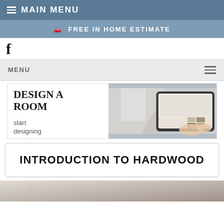≡ MAIN MENU
🚗 FREE IN HOME ESTIMATE
f
MENU ≡
[Figure (screenshot): Banner advertisement showing 'DESIGN A ROOM - start designing now!' with a tablet displaying a room design application on the right side]
INTRODUCTION TO HARDWOOD
[Figure (photo): Bottom strip of a room interior photo, partially visible]